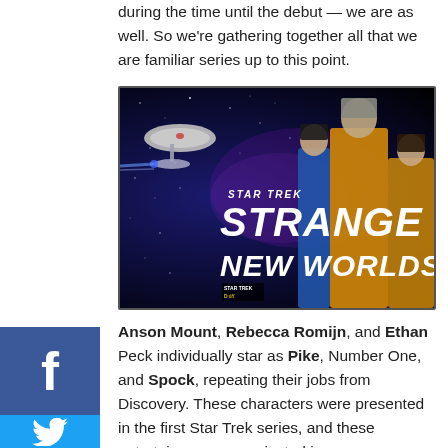during the time until the debut — we are as well. So we're gathering together all that we are familiar series up to this point.
[Figure (photo): Star Trek Strange New Worlds promotional image featuring Anson Mount as Pike (center, in yellow/gold uniform), Ethan Peck as Spock (left, in blue uniform), and Rebecca Romijn as Number One (right, in yellow/gold uniform), with a starfield background, a starship in the upper left, and the 'STAR TREK STRANGE NEW WORLDS' logo text. Also shows 'STAR TREK DAY' branding in the lower left.]
Anson Mount, Rebecca Romijn, and Ethan Peck individually star as Pike, Number One, and Spock, repeating their jobs from Discovery. These characters were presented in the first Star Trek series, and these entertainers were projected in